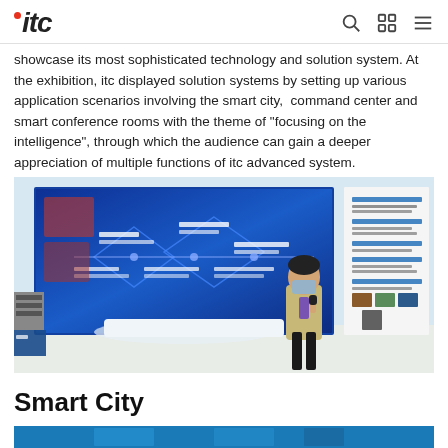itc [logo with search, grid, menu icons]
showcase its most sophisticated technology and solution system. At the exhibition, itc displayed solution systems by setting up various application scenarios involving the smart city,  command center and smart conference rooms with the theme of "focusing on the intelligence", through which the audience can gain a deeper appreciation of multiple functions of itc advanced system.
[Figure (photo): A presenter wearing a face mask and a purple lanyard holds a microphone and speaks in front of a large blue LED display screen showing a smart city diagram with Chinese text. To the right is a white information board with Chinese text and small product images. Exhibition hall setting.]
Smart City
[Figure (photo): Partial view of a blue-toned exhibition strip at the bottom of the page, partially cut off.]